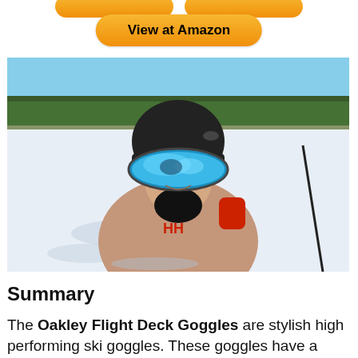[Figure (other): Two orange pill-shaped buttons partially visible at top of page]
[Figure (other): Orange 'View at Amazon' button]
[Figure (photo): Person wearing black ski helmet and blue mirrored Oakley Flight Deck ski goggles, pink/mauve Helly Hansen ski jacket, holding a ski pole, standing on a snowy ski slope with blue sky and trees in background]
Summary
The Oakley Flight Deck Goggles are stylish high performing ski goggles. These goggles have a swappable lens so you can have a